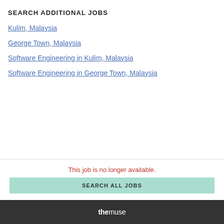SEARCH ADDITIONAL JOBS
Kulim, Malaysia
George Town, Malaysia
Software Engineering in Kulim, Malaysia
Software Engineering in George Town, Malaysia
This job is no longer available.
SEARCH ALL JOBS
themuse